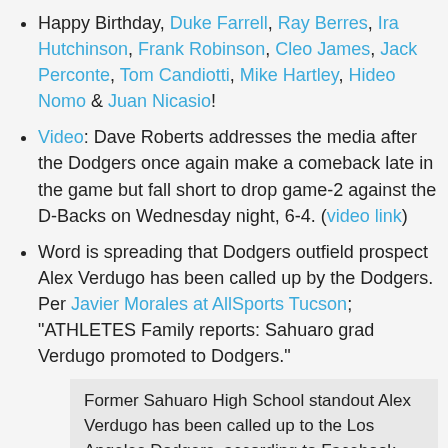Happy Birthday, Duke Farrell, Ray Berres, Ira Hutchinson, Frank Robinson, Cleo James, Jack Perconte, Tom Candiotti, Mike Hartley, Hideo Nomo & Juan Nicasio!
Video: Dave Roberts addresses the media after the Dodgers once again make a comeback late in the game but fall short to drop game-2 against the D-Backs on Wednesday night, 6-4. (video link)
Word is spreading that Dodgers outfield prospect Alex Verdugo has been called up by the Dodgers. Per Javier Morales at AllSports Tucson; "ATHLETES Family reports: Sahuaro grad Verdugo promoted to Dodgers."
Former Sahuaro High School standout Alex Verdugo has been called up to the Los Angeles Dodgers, according to Facebook messages posted by his cousins Augie and Cisco Aguilar.